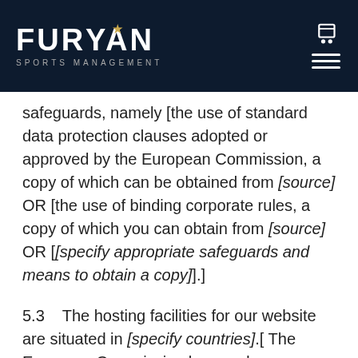[Figure (logo): Furyan Sports Management logo with star accent on white text, on dark navy background header with cart icon and hamburger menu]
safeguards, namely [the use of standard data protection clauses adopted or approved by the European Commission, a copy of which can be obtained from [source] OR [the use of binding corporate rules, a copy of which you can obtain from [source] OR [[specify appropriate safeguards and means to obtain a copy]].]
5.3    The hosting facilities for our website are situated in [specify countries].[ The European Commission has made an “adequacy decision” with respect to [the data protection laws of